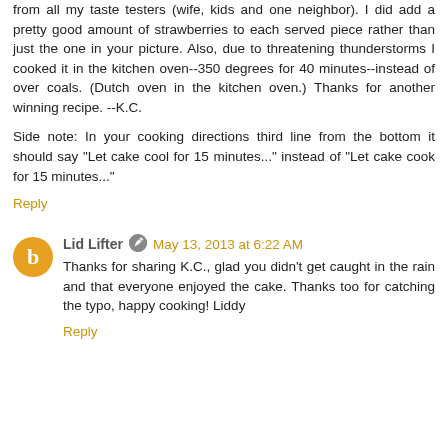from all my taste testers (wife, kids and one neighbor). I did add a pretty good amount of strawberries to each served piece rather than just the one in your picture. Also, due to threatening thunderstorms I cooked it in the kitchen oven--350 degrees for 40 minutes--instead of over coals. (Dutch oven in the kitchen oven.) Thanks for another winning recipe. --K.C.
Side note: In your cooking directions third line from the bottom it should say "Let cake cool for 15 minutes..." instead of "Let cake cook for 15 minutes..."
Reply
Lid Lifter
May 13, 2013 at 6:22 AM
Thanks for sharing K.C., glad you didn't get caught in the rain and that everyone enjoyed the cake. Thanks too for catching the typo, happy cooking! Liddy
Reply